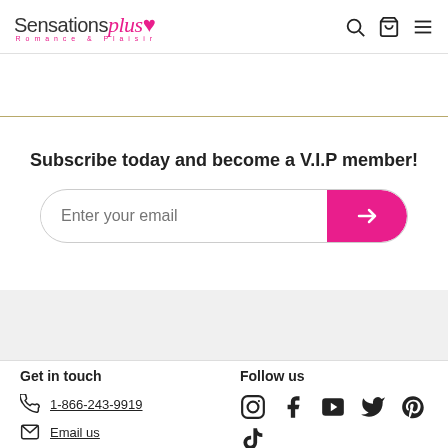Sensationsplus Romance & Plaisir
Subscribe today and become a V.I.P member!
Enter your email
Get in touch
1-866-243-9919
Email us
Follow us